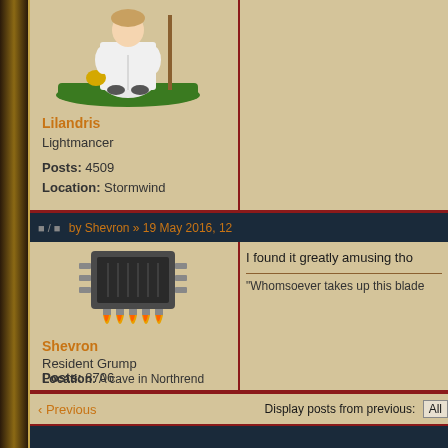[Figure (illustration): Fantasy character avatar - white-robed figure standing on grass with a staff]
Lilandris
Lightmancer
Posts: 4509
Location: Stormwind
by Shevron » 19 May 2016, 12
I found it greatly amusing tho
"Whomsoever takes up this blade
[Figure (illustration): Chip/processor avatar with flame pins underneath]
Shevron
Resident Grump
Posts: 8706
Location: A cave in Northrend
‹ Previous
Display posts from previous: All